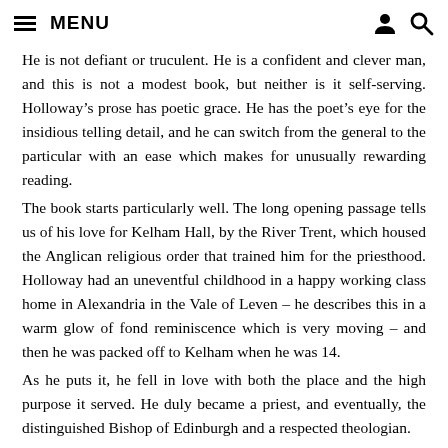MENU
He is not defiant or truculent. He is a confident and clever man, and this is not a modest book, but neither is it self-serving. Holloway’s prose has poetic grace. He has the poet’s eye for the insidious telling detail, and he can switch from the general to the particular with an ease which makes for unusually rewarding reading.
The book starts particularly well. The long opening passage tells us of his love for Kelham Hall, by the River Trent, which housed the Anglican religious order that trained him for the priesthood. Holloway had an uneventful childhood in a happy working class home in Alexandria in the Vale of Leven – he describes this in a warm glow of fond reminiscence which is very moving – and then he was packed off to Kelham when he was 14.
As he puts it, he fell in love with both the place and the high purpose it served. He duly became a priest, and eventually, the distinguished Bishop of Edinburgh and a respected theologian.